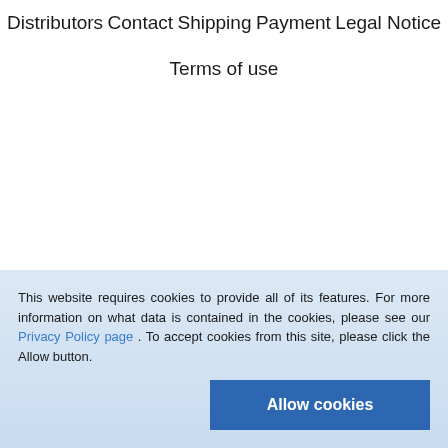Distributors
Contact
Shipping
Payment
Legal Notice
Terms of use
This website requires cookies to provide all of its features. For more information on what data is contained in the cookies, please see our Privacy Policy page . To accept cookies from this site, please click the Allow button.
Allow cookies